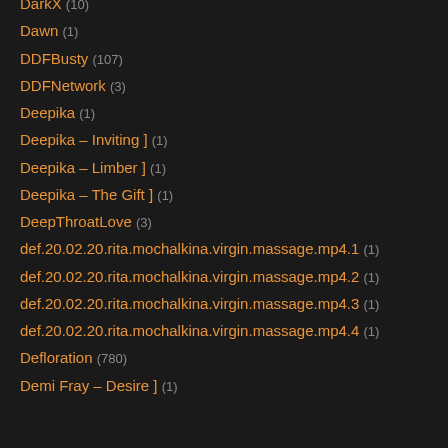DarkX (10)
Dawn (1)
DDFBusty (107)
DDFNetwork (3)
Deepika (1)
Deepika – Inviting ] (1)
Deepika – Limber ] (1)
Deepika – The Gift ] (1)
DeepThroatLove (3)
def.20.02.20.rita.mochalkina.virgin.massage.mp4.1 (1)
def.20.02.20.rita.mochalkina.virgin.massage.mp4.2 (1)
def.20.02.20.rita.mochalkina.virgin.massage.mp4.3 (1)
def.20.02.20.rita.mochalkina.virgin.massage.mp4.4 (1)
Defloration (780)
Demi Fray – Desire ] (1)